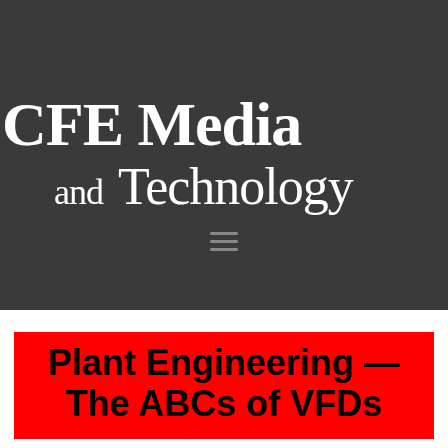[Figure (logo): CFE Media and Technology logo — white serif text on dark gray background with hamburger menu icon]
Plant Engineering — The ABCs of VFDs